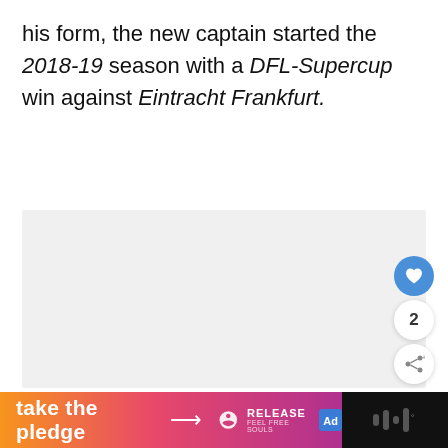his form, the new captain started the 2018-19 season with a DFL-Supercup win against Eintracht Frankfurt.
[Figure (photo): Light gray placeholder image area]
[Figure (infographic): UI overlay with like button (blue circle with heart), count badge showing 2, and share button]
[Figure (infographic): Bottom banner advertisement: orange-to-pink gradient with 'take the pledge' text and arrow, Release logo, ad icon, and dark right section with sound wave icon]